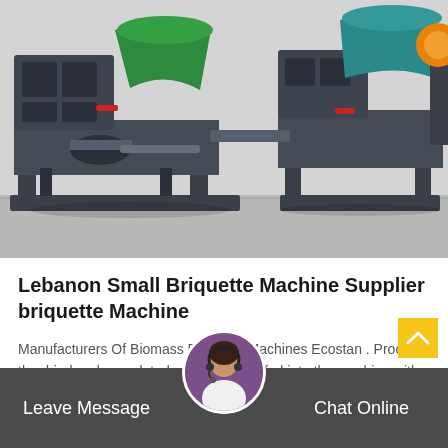[Figure (photo): Industrial briquette machines in a warehouse — large dark grey metal machines with green and teal hoppers, red accents, on metal frames on a concrete floor]
Lebanon Small Briquette Machine Supplier briquette Machine
Manufacturers Of Biomass Briquette Machines Ecostan . Process the dried and granulated rawmaterial is fed into the machine with the help of infeed screw conveyor further the...
Leave Message   Chat Online